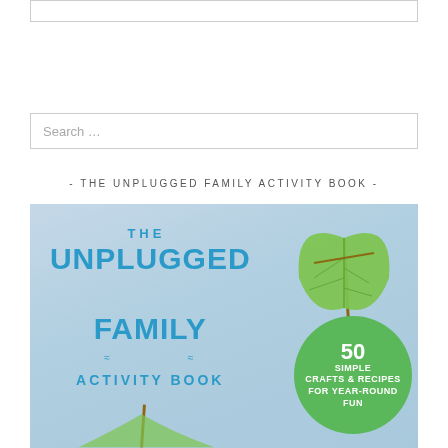[Figure (other): Top white box with border, partially cropped at top of page]
[Figure (other): Search input box with placeholder text 'Search ...']
- THE UNPLUGGED FAMILY ACTIVITY BOOK -
[Figure (illustration): Book cover of 'The Unplugged Family Activity Book' showing title text in blue lettering, a green leaf held by a hand, and a green circle badge reading '50 Simple Crafts & Recipes For Year-Round Fun']